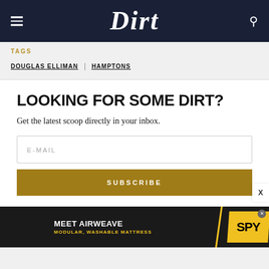Dirt
TAGS
DOUGLAS ELLIMAN | HAMPTONS
LOOKING FOR SOME DIRT?
Get the latest scoop directly in your inbox.
E-MAIL
SUBSCRIBE
[Figure (screenshot): Advertisement banner for Airweave: MEET AIRWEAVE - MODULAR, WASHABLE MATTRESS with SPY logo]